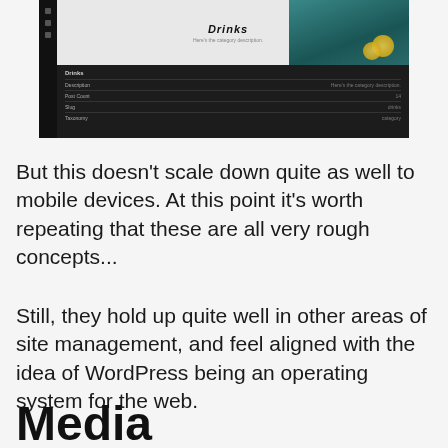[Figure (screenshot): A dark-themed website/admin interface screenshot showing a 'Drinks' category page with a teal/dark image on the right, and a data table below with rows for Description, Post Count, Slug, and Taxonomy fields.]
But this doesn’t scale down quite as well to mobile devices. At this point it’s worth repeating that these are all very rough concepts...
Still, they hold up quite well in other areas of site management, and feel aligned with the idea of WordPress being an operating system for the web.
Media